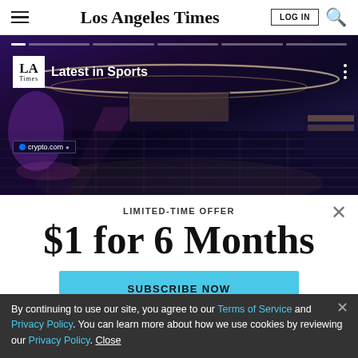Los Angeles Times
[Figure (screenshot): Video thumbnail showing 'Latest in Sports' with LA Times logo overlaid on an arena/stadium image with purple and gold lighting (Crypto.com Arena / Lakers). Progress bar segments at top. Three-dots menu icon at right.]
LIMITED-TIME OFFER
$1 for 6 Months
SUBSCRIBE NOW
By continuing to use our site, you agree to our Terms of Service and Privacy Policy. You can learn more about how we use cookies by reviewing our Privacy Policy. Close